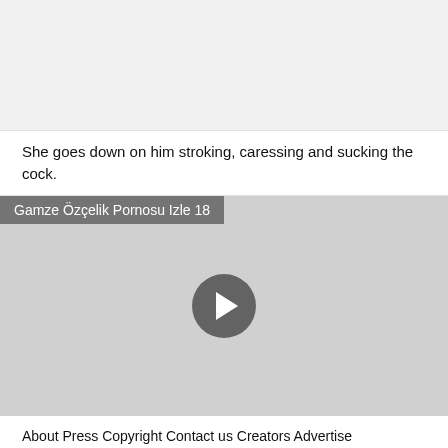[Figure (photo): Top image area, light gray background, content not visible]
She goes down on him stroking, caressing and sucking the cock.
[Figure (screenshot): Video player with title 'Gamze Özçelik Pornosu Izle 18' and a play button in the center on a gray background]
About Press Copyright Contact us Creators Advertise Developers Terms Privacy Policy Safety How YouTube works Test new features Press Copyright Contact us Creators.